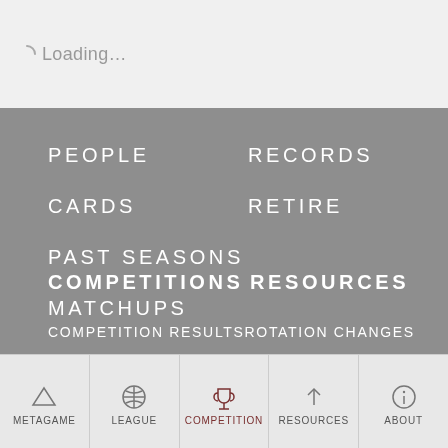Loading...
PEOPLE
RECORDS
CARDS
RETIRE
PAST SEASONS
MATCHUPS
COMPETITIONS
RESOURCES
COMPETITION RESULTSROTATION CHANGES
METAGAME  LEAGUE  COMPETITION  RESOURCES  ABOUT